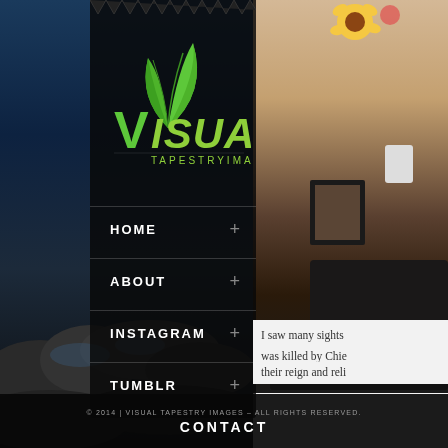[Figure (screenshot): Visual Tapestry Images website screenshot showing navigation menu overlay on a landscape background photo, with a secondary photo panel on the right side showing interior scene with furniture and flowers.]
HOME
ABOUT
INSTAGRAM
TUMBLR
I saw many sights
was killed by Chief
their reign and reli
© 2014 | VISUAL TAPESTRY IMAGES – ALL RIGHTS RESERVED.
CONTACT